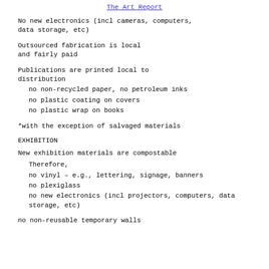The Art Report
No new electronics (incl cameras, computers,
data storage, etc)
Outsourced fabrication is local
and fairly paid
Publications are printed local to
distribution
no non-recycled paper, no petroleum inks
no plastic coating on covers
no plastic wrap on books
*with the exception of salvaged materials
EXHIBITION
New exhibition materials are compostable
Therefore,
no vinyl – e.g., lettering, signage,
banners
no plexiglass
no new electronics (incl projectors,
computers, data storage, etc)
no non-reusable temporary walls